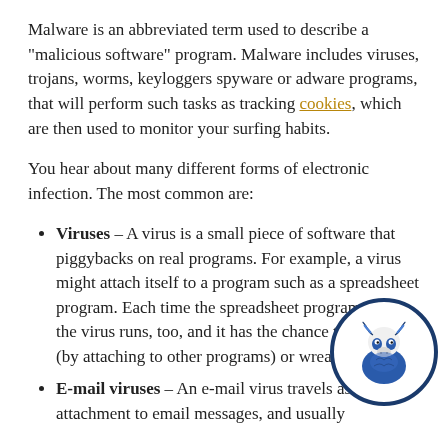Malware is an abbreviated term used to describe a “malicious software” program. Malware includes viruses, trojans, worms, keyloggers spyware or adware programs, that will perform such tasks as tracking cookies, which are then used to monitor your surfing habits.
You hear about many different forms of electronic infection. The most common are:
Viruses – A virus is a small piece of software that piggybacks on real programs. For example, a virus might attach itself to a program such as a spreadsheet program. Each time the spreadsheet program runs, the virus runs, too, and it has the chance to reproduce (by attaching to other programs) or wreak havoc.
E-mail viruses – An e-mail virus travels as an attachment to email messages, and usually
[Figure (illustration): Circular logo/mascot illustration of a ram or goat figure in blue and white, enclosed in a dark blue circle border.]